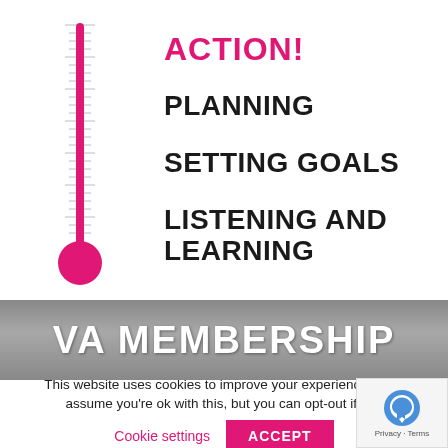[Figure (infographic): A thermometer graphic (pink/magenta color) with tick marks along its side, positioned vertically on the left side of the top section.]
ACTION!
PLANNING
SETTING GOALS
LISTENING AND LEARNING
VA MEMBERSHIP
This website uses cookies to improve your experience. We'll assume you're ok with this, but you can opt-out if you
Cookie settings    ACCEPT